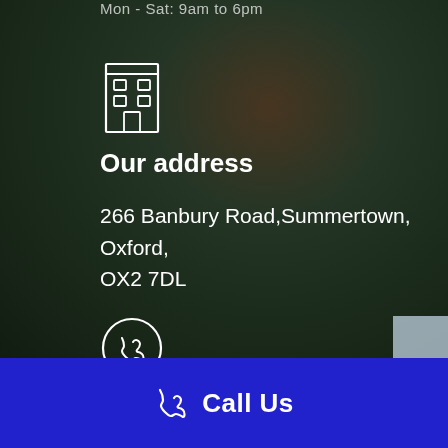Mon - Sat: 9am to 6pm
[Figure (illustration): Building/office icon in white outline style]
Our address
266 Banbury Road,Summertown, Oxford, OX2 7DL
[Figure (illustration): Phone handset icon in white outline style inside a circle]
Call Us